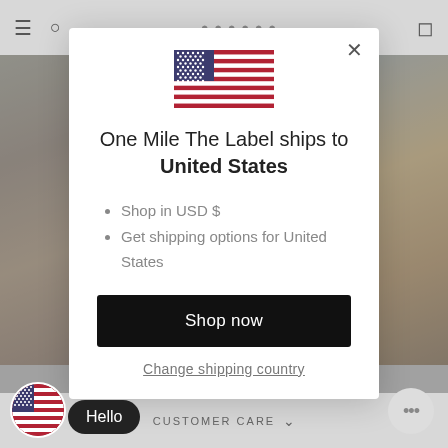One Mile The Label - navigation bar with hamburger, search, title, and bag icons
[Figure (screenshot): US flag emoji in modal dialog]
One Mile The Label ships to United States
Shop in USD $
Get shipping options for United States
Shop now
Change shipping country
CUSTOMER CARE